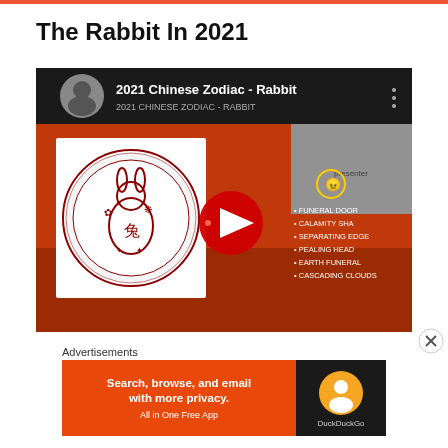The Rabbit In 2021
[Figure (screenshot): YouTube video thumbnail showing '2021 Chinese Zodiac - Rabbit' with a red background, Chinese paper-cut rabbit medallion, YouTube play button, and a list of bullet points: FUNERAL DOOR, CALAMITY SHA, SEPARATING EDGE, PEALING HEAD, EARTH FUNERAL, CASCADING CLOUDS. A woman presenter is shown in the top right corner.]
Advertisements
[Figure (screenshot): DuckDuckGo advertisement banner: 'Search, browse, and email with more privacy. All in One Free App' with DuckDuckGo logo on dark right panel.]